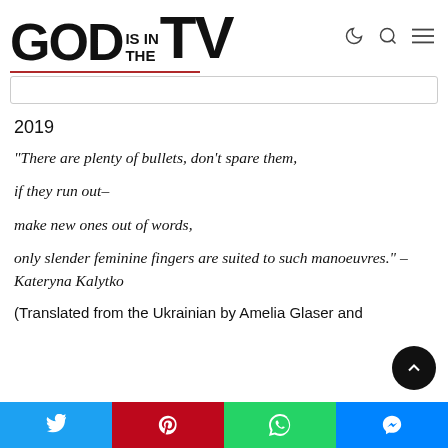GOD IS IN THE TV
2019
“There are plenty of bullets, don’t spare them,

if they run out–

make new ones out of words,

only slender feminine fingers are suited to such manoeuvres.” – Kateryna Kalytko
(Translated from the Ukrainian by Amelia Glaser and